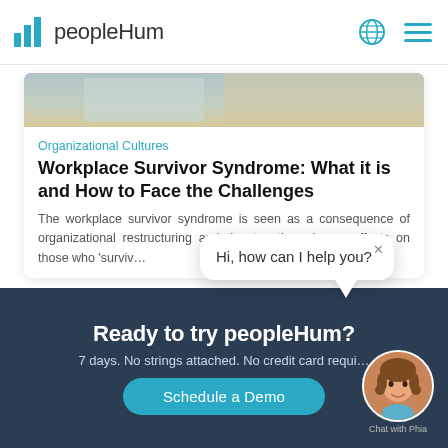peopleHum
[Figure (photo): Partial article card image strip at top — blurred photo background]
Organizational Cultures
Workplace Survivor Syndrome: What it is and How to Face the Challenges
The workplace survivor syndrome is seen as a consequence of organizational restructuring and denotes the adverse effects on those who 'surviv...
[Figure (illustration): Chat bubble saying 'Hi, how can I help you?' with close button, and Phia avatar chatbot icon]
Ready to try peopleHum?
7 days. No strings attached. No credit card requi...
Schedule a Demo